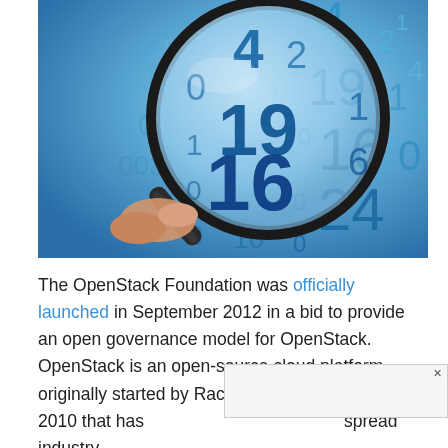[Figure (photo): A hand holding a magnifying glass over a blue background covered with numbers (digits like 0, 1, 2, 3, 4, 5, 6, 9, 16, 19, 24). The magnifying glass enlarges the numbers visible through its lens.]
The OpenStack Foundation was officially launched in September 2012 in a bid to provide an open governance model for OpenStack. OpenStack is an open-source cloud platform originally started by Rackspace and NASA in 2010 that has ...spread industry